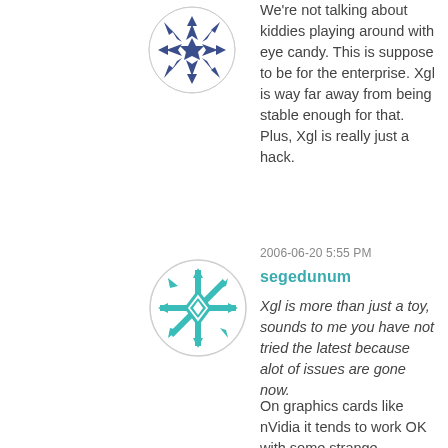[Figure (illustration): Circular avatar with blue/navy snowflake-style geometric pattern on white background]
We're not talking about kiddies playing around with eye candy. This is suppose to be for the enterprise. Xgl is way far away from being stable enough for that. Plus, Xgl is really just a hack.
2006-06-20 5:55 PM
segedunum
[Figure (illustration): Circular avatar with teal/cyan snowflake-style geometric pattern on white background]
Xgl is more than just a toy, sounds to me you have not tried the latest because alot of issues are gone now.
On graphics cards like nVidia it tends to work OK with some strange problems here and